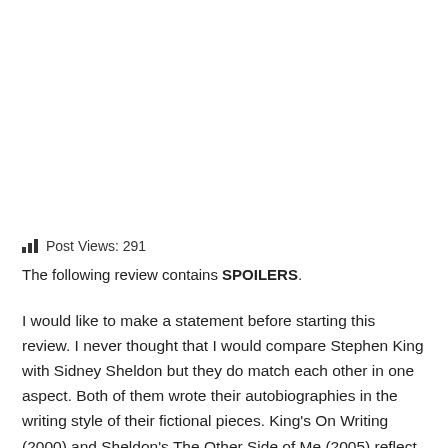Post Views: 291
The following review contains SPOILERS.
I would like to make a statement before starting this review. I never thought that I would compare Stephen King with Sidney Sheldon but they do match each other in one aspect. Both of them wrote their autobiographies in the writing style of their fictional pieces. King's On Writing (2000) and Sheldon's The Other Side of Me (2005) reflect both authors' writing style to